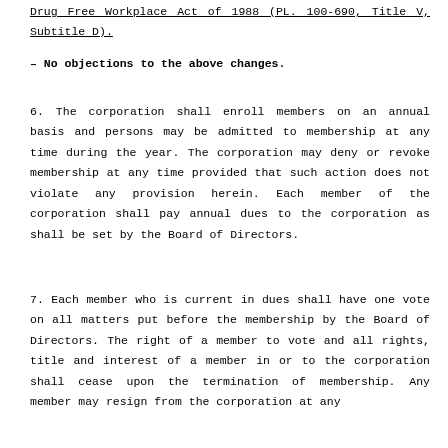Drug Free Workplace Act of 1988 (PL. 100-690, Title V, Subtitle D).
– No objections to the above changes.
6. The corporation shall enroll members on an annual basis and persons may be admitted to membership at any time during the year. The corporation may deny or revoke membership at any time provided that such action does not violate any provision herein. Each member of the corporation shall pay annual dues to the corporation as shall be set by the Board of Directors.
7. Each member who is current in dues shall have one vote on all matters put before the membership by the Board of Directors. The right of a member to vote and all rights, title and interest of a member in or to the corporation shall cease upon the termination of membership. Any member may resign from the corporation at any